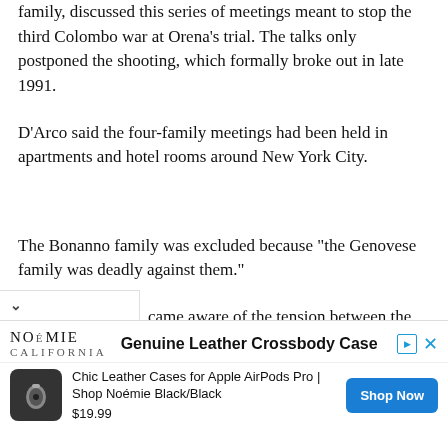family, discussed this series of meetings meant to stop the third Colombo war at Orena's trial. The talks only postponed the shooting, which formally broke out in late 1991.
D'Arco said the four-family meetings had been held in apartments and hotel rooms around New York City.
The Bonanno family was excluded because "the Genovese family was deadly against them."
came aware of the tension between the Genovese and
[Figure (screenshot): Noémie California advertisement banner for Genuine Leather Crossbody Case / Chic Leather Cases for Apple AirPods Pro. Price $19.99, Shop Now button.]